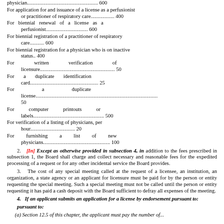physician... 600 (truncated at top)
For application for and issuance of a license as a perfusionist or practitioner of respiratory care................ 400
For biennial renewal of a license as a perfusionist................................ 600
For biennial registration of a practitioner of respiratory care.......... 600
For biennial registration for a physician who is on inactive status.. 400
For written verification of licensure................................................... 50
For a duplicate identification card................................................... 25
For a duplicate license........................................................................... 50
For computer printouts or labels......................................................... 500
For verification of a listing of physicians, per hour................................ 20
For furnishing a list of new physicians................................................ 100
2. [In] Except as otherwise provided in subsection 4, in addition to the fees prescribed in subsection 1, the Board shall charge and collect necessary and reasonable fees for the expedited processing of a request or for any other incidental service the Board provides.
3. The cost of any special meeting called at the request of a licensee, an institution, an organization, a state agency or an applicant for licensure must be paid for by the person or entity requesting the special meeting. Such a special meeting must not be called until the person or entity requesting it has paid a cash deposit with the Board sufficient to defray all expenses of the meeting.
4. If an applicant submits an application for a license by endorsement pursuant to:
(a) Section 12.5 of this chapter, the applicant must pay the number of...